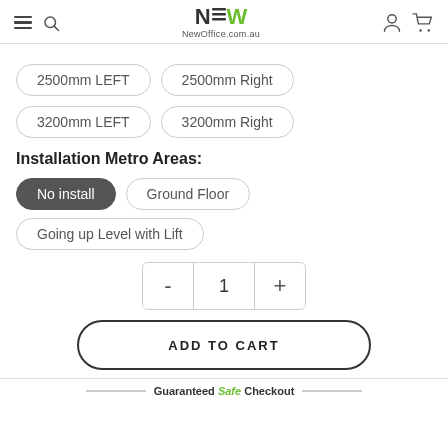NewOffice.com.au
2500mm LEFT
2500mm Right
3200mm LEFT
3200mm Right
Installation Metro Areas:
No install
Ground Floor
Going up Level with Lift
- 1 +
ADD TO CART
Guaranteed Safe Checkout